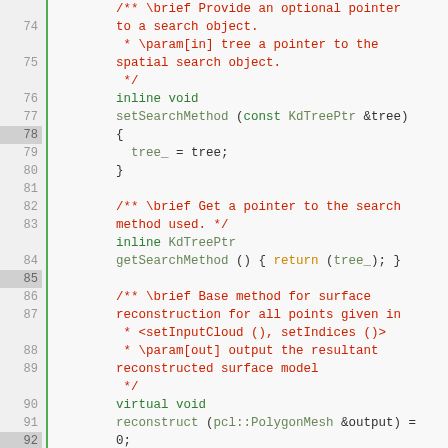[Figure (screenshot): Source code viewer showing C++ class definition with line numbers 74-99, green vertical bar separating line numbers from code, syntax highlighting with red for comments, green for keywords, and olive/dark green for types. Code shows setSearchMethod, getSearchMethod, and reconstruct virtual methods with Doxygen documentation comments.]